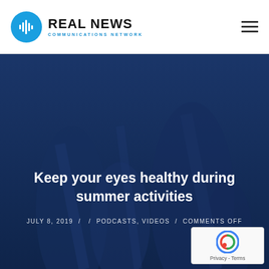[Figure (logo): Real News Communications Network logo with blue circle icon and bold text]
Keep your eyes healthy during summer activities
JULY 8, 2019  /  /  PODCASTS, VIDEOS  /  COMMENTS OFF
[Figure (logo): reCAPTCHA badge with Privacy and Terms links]